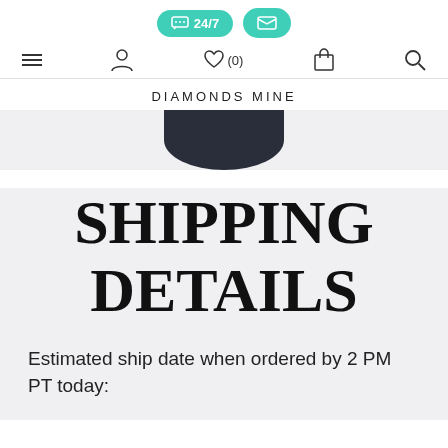[Figure (screenshot): Website navigation bar with teal pill buttons: a chat bubble icon labeled '24/7' and an envelope icon, plus navigation icons for menu, user, wishlist (0), bag, and search]
DIAMONDS MINE
[Figure (photo): Partial product image showing dark navy/black corner of a box or packaging against light background]
SHIPPING DETAILS
Estimated ship date when ordered by 2 PM PT today: